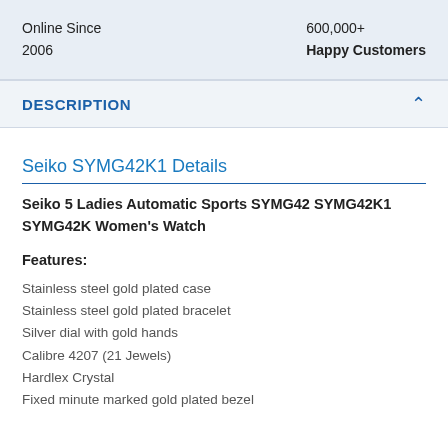Online Since
2006
600,000+
Happy Customers
DESCRIPTION
Seiko SYMG42K1 Details
Seiko 5 Ladies Automatic Sports SYMG42 SYMG42K1 SYMG42K Women's Watch
Features:
Stainless steel gold plated case
Stainless steel gold plated bracelet
Silver dial with gold hands
Calibre 4207 (21 Jewels)
Hardlex Crystal
Fixed minute marked gold plated bezel